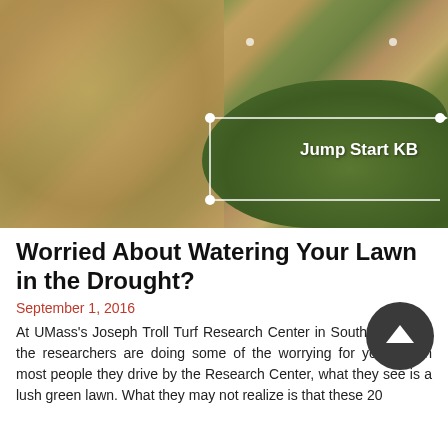[Figure (photo): Aerial or ground-level photo of a lawn at UMass Joseph Troll Turf Research Center showing a contrast between brown/dormant drought-stressed grass on the left and lush green grass on the right, with white annotation lines and the label 'Jump Start KB' on the green section.]
Worried About Watering Your Lawn in the Drought?
September 1, 2016
At UMass's Joseph Troll Turf Research Center in South Deerfield, the researchers are doing some of the worrying for you. When most people they drive by the Research Center, what they see is a lush green lawn. What they may not realize is that these 20